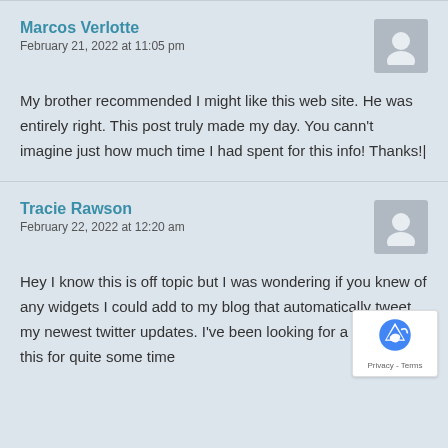Marcos Verlotte
February 21, 2022 at 11:05 pm
My brother recommended I might like this web site. He was entirely right. This post truly made my day. You cann't imagine just how much time I had spent for this info! Thanks!|
Tracie Rawson
February 22, 2022 at 12:20 am
Hey I know this is off topic but I was wondering if you knew of any widgets I could add to my blog that automatically tweet my newest twitter updates. I've been looking for a plug-in like this for quite some time